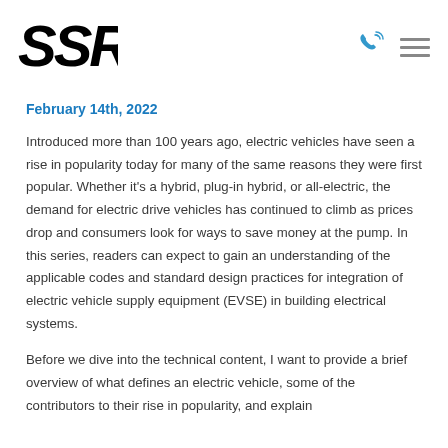SSR logo with phone and menu icons
February 14th, 2022
Introduced more than 100 years ago, electric vehicles have seen a rise in popularity today for many of the same reasons they were first popular. Whether it's a hybrid, plug-in hybrid, or all-electric, the demand for electric drive vehicles has continued to climb as prices drop and consumers look for ways to save money at the pump. In this series, readers can expect to gain an understanding of the applicable codes and standard design practices for integration of electric vehicle supply equipment (EVSE) in building electrical systems.
Before we dive into the technical content, I want to provide a brief overview of what defines an electric vehicle, some of the contributors to their rise in popularity, and explain